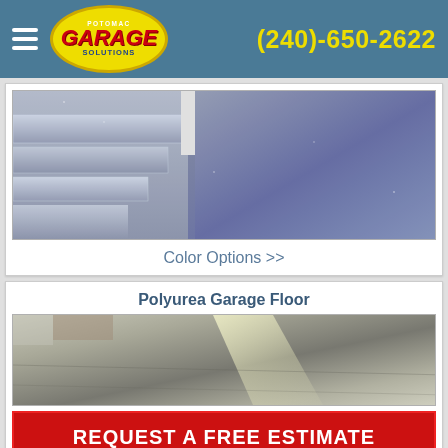Potomac Garage Solutions (240)-650-2622
[Figure (photo): Photo of garage floor coating with speckled gray/blue texture showing stairs on left and open floor area on right]
Color Options >>
Polyurea Garage Floor
[Figure (photo): Photo of polyurea garage floor with light ray reflecting off smooth gray surface]
REQUEST A FREE ESTIMATE